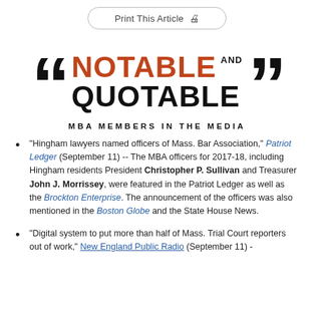Print This Article
[Figure (logo): Notable and Quotable logo with large open and close quotation marks flanking the text NOTABLE AND QUOTABLE in bold]
MBA MEMBERS IN THE MEDIA
"Hingham lawyers named officers of Mass. Bar Association," Patriot Ledger (September 11) -- The MBA officers for 2017-18, including Hingham residents President Christopher P. Sullivan and Treasurer John J. Morrissey, were featured in the Patriot Ledger as well as the Brockton Enterprise. The announcement of the officers was also mentioned in the Boston Globe and the State House News.
"Digital system to put more than half of Mass. Trial Court reporters out of work," New England Public Radio (September 11) -